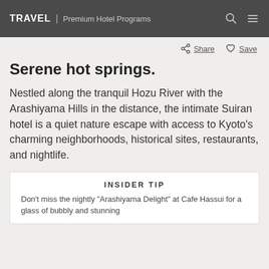TRAVEL | Premium Hotel Programs
Share   Save
Serene hot springs.
Nestled along the tranquil Hozu River with the Arashiyama Hills in the distance, the intimate Suiran hotel is a quiet nature escape with access to Kyoto's charming neighborhoods, historical sites, restaurants, and nightlife.
INSIDER TIP
Don't miss the nightly "Arashiyama Delight" at Cafe Hassui for a glass of bubbly and stunning